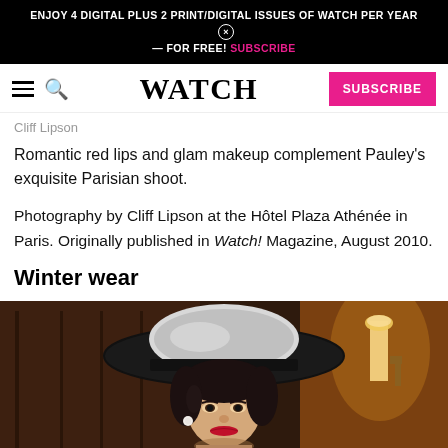ENJOY 4 DIGITAL PLUS 2 PRINT/DIGITAL ISSUES OF WATCH PER YEAR — FOR FREE! SUBSCRIBE ×
WATCH  SUBSCRIBE
Cliff Lipson
Romantic red lips and glam makeup complement Pauley's exquisite Parisian shoot.
Photography by Cliff Lipson at the Hôtel Plaza Athénée in Paris. Originally published in Watch! Magazine, August 2010.
Winter wear
[Figure (photo): A woman wearing a large black and white wide-brim hat, with dark hair, red lips, and a pearl earring, photographed in an elegant hotel interior with warm wood paneling and a wall sconce lamp.]